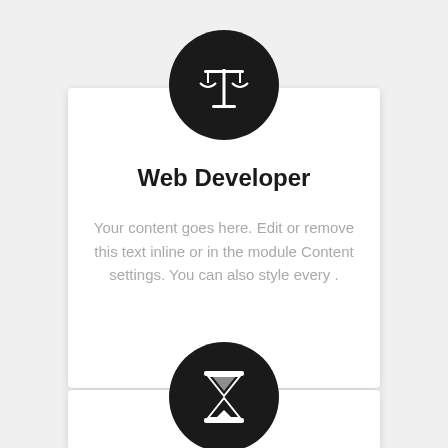[Figure (illustration): Black circle with white balance/scales of justice icon, positioned above a white card]
Web Developer
Your content goes here. Edit or remove this text inline or in the module Content settings. You can also style every .
[Figure (illustration): Black circle with white hourglass icon, positioned above a partially visible second white card]